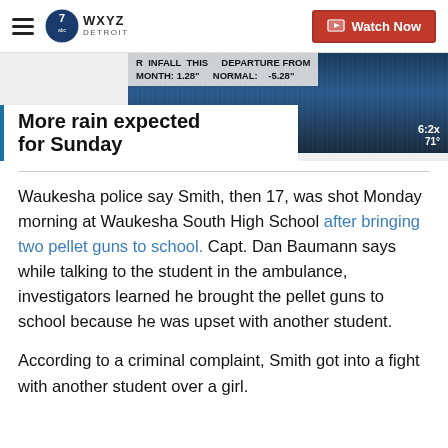WXYZ Detroit — Watch Now
[Figure (screenshot): Weather thumbnail showing rainfall data: RAINFALL THIS MONTH: 1.28", DEPARTURE FROM NORMAL: -5.28". Time 6:2x, 71°, channel 7 logo.]
More rain expected for Sunday
Waukesha police say Smith, then 17, was shot Monday morning at Waukesha South High School after bringing two pellet guns to school. Capt. Dan Baumann says while talking to the student in the ambulance, investigators learned he brought the pellet guns to school because he was upset with another student.
According to a criminal complaint, Smith got into a fight with another student over a girl.